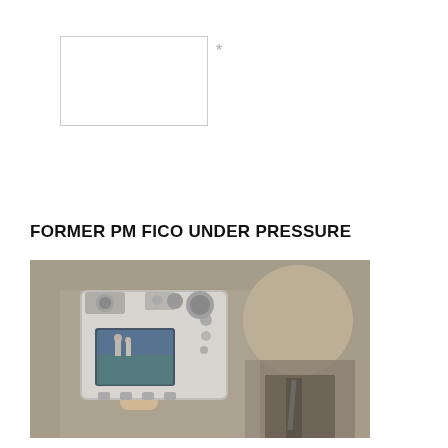[Figure (other): Empty input text box with an asterisk label to the right]
*
POST COMMENT
FORMER PM FICO UNDER PRESSURE
[Figure (photo): A person holding a silver camera up, photographing someone in the background (blurred man in suit). Camera LCD shows a scene with figures.]
Many in Slovak politics and in the media have either suspected for years or felt they knew of the murky ties three-times former PM Robert Fico has had with various dubious characters from the criminal underworld.